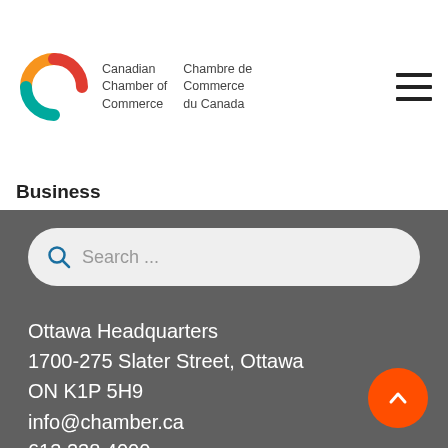[Figure (logo): Canadian Chamber of Commerce / Chambre de Commerce du Canada logo with colorful arc shapes (orange, red, teal) and bilingual text]
Business
[Figure (other): Search bar with magnifying glass icon and placeholder text 'Search ...']
Ottawa Headquarters
1700-275 Slater Street, Ottawa
ON K1P 5H9
info@chamber.ca
613.238.4000